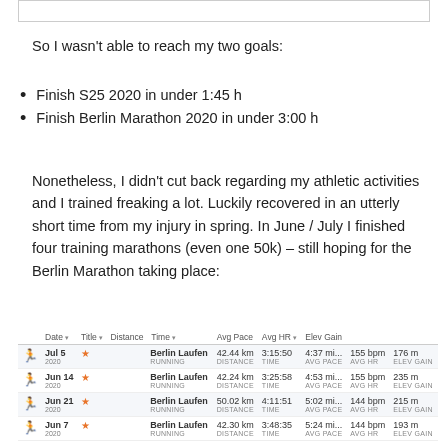So I wasn't able to reach my two goals:
Finish S25 2020 in under 1:45 h
Finish Berlin Marathon 2020 in under 3:00 h
Nonetheless, I didn't cut back regarding my athletic activities and I trained freaking a lot. Luckily recovered in an utterly short time from my injury in spring. In June / July I finished four training marathons (even one 50k) – still hoping for the Berlin Marathon taking place:
|  | Date | Title | Distance | Time | Avg Pace | Avg HR | Elev Gain |
| --- | --- | --- | --- | --- | --- | --- | --- |
| 🏃 | Jul 5 2020 | Berlin Laufen RUNNING | 42.44 km | 3:15:50 | 4:37 mi... | 155 bpm | 176 m |
| 🏃 | Jun 14 2020 | Berlin Laufen RUNNING | 42.24 km | 3:25:58 | 4:53 mi... | 155 bpm | 235 m |
| 🏃 | Jun 21 2020 | Berlin Laufen RUNNING | 50.02 km | 4:11:51 | 5:02 mi... | 144 bpm | 215 m |
| 🏃 | Jun 7 2020 | Berlin Laufen RUNNING | 42.30 km | 3:48:35 | 5:24 mi... | 144 bpm | 193 m |